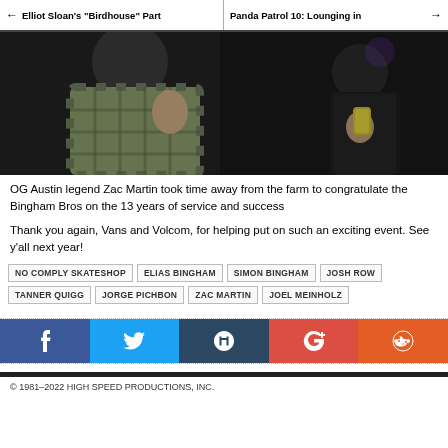← Elliot Sloan's "Birdhouse" Part | Panda Patrol 10: Lounging in →
[Figure (photo): Dark indoor photo of a person in a plaid shirt giving a thumbs up, another person holding a can visible on the right]
OG Austin legend Zac Martin took time away from the farm to congratulate the Bingham Bros on the 13 years of service and success
Thank you again, Vans and Volcom, for helping put on such an exciting event. See y'all next year!
NO COMPLY SKATESHOP
ELIAS BINGHAM
SIMON BINGHAM
JOSH ROW
TANNER QUIGG
JORGE PICHBON
ZAC MARTIN
JOEL MEINHOLZ
© 1981–2022 HIGH SPEED PRODUCTIONS, INC.